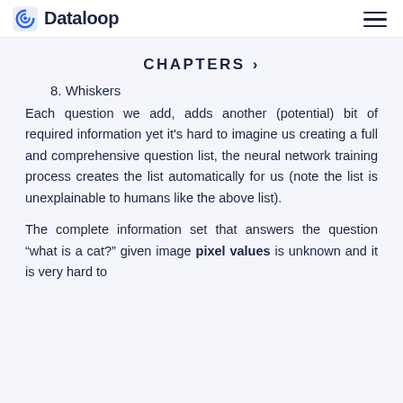Dataloop
CHAPTERS >
8. Whiskers
Each question we add, adds another (potential) bit of required information yet it’s hard to imagine us creating a full and comprehensive question list, the neural network training process creates the list automatically for us (note the list is unexplainable to humans like the above list).
The complete information set that answers the question “what is a cat?” given image pixel values is unknown and it is very hard to